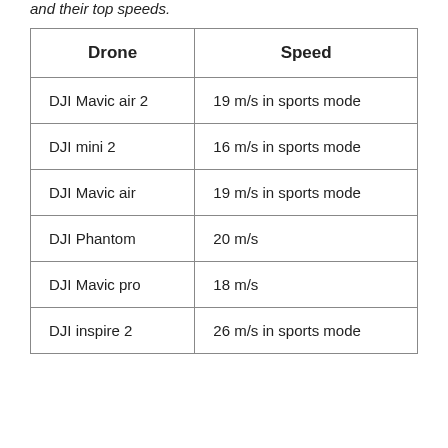and their top speeds.
| Drone | Speed |
| --- | --- |
| DJI Mavic air 2 | 19 m/s in sports mode |
| DJI mini 2 | 16 m/s in sports mode |
| DJI Mavic air | 19 m/s in sports mode |
| DJI Phantom | 20 m/s |
| DJI Mavic pro | 18 m/s |
| DJI inspire 2 | 26 m/s in sports mode |